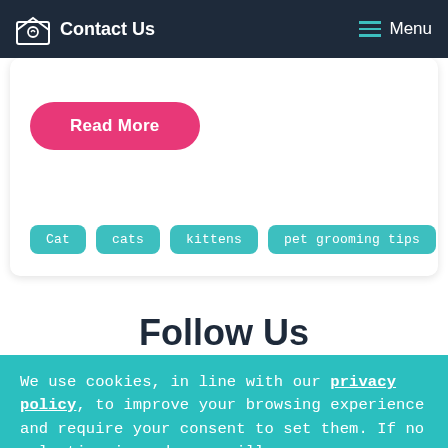Contact Us | Menu
Read More
Cat
cats
kittens
pet grooming tips
Follow Us
We use cookies, in line with our privacy policy, to improve your browsing experience and require your consent to set them. If no selection is made, we will assume your consent to the use of cookies.
Consent
Manage Settings